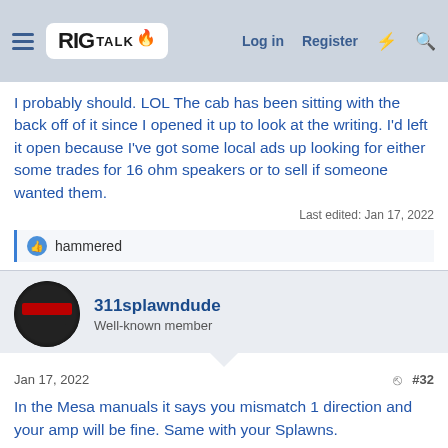RIG TALK - Log in Register
I probably should. LOL The cab has been sitting with the back off of it since I opened it up to look at the writing. I'd left it open because I've got some local ads up looking for either some trades for 16 ohm speakers or to sell if someone wanted them.
Last edited: Jan 17, 2022
👍 hammered
311splawndude
Well-known member
Jan 17, 2022   #32
In the Mesa manuals it says you mismatch 1 direction and your amp will be fine. Same with your Splawns.
War_in_D
Well-known member